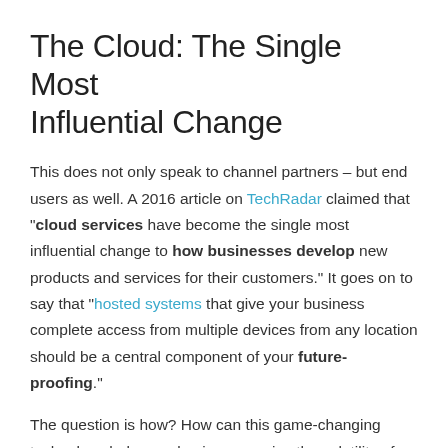The Cloud: The Single Most Influential Change
This does not only speak to channel partners – but end users as well. A 2016 article on TechRadar claimed that "cloud services have become the single most influential change to how businesses develop new products and services for their customers." It goes on to say that "hosted systems that give your business complete access from multiple devices from any location should be a central component of your future-proofing."
The question is how? How can this game-changing technology help your business survive the volatility of the global economy? Two words. Business agility.